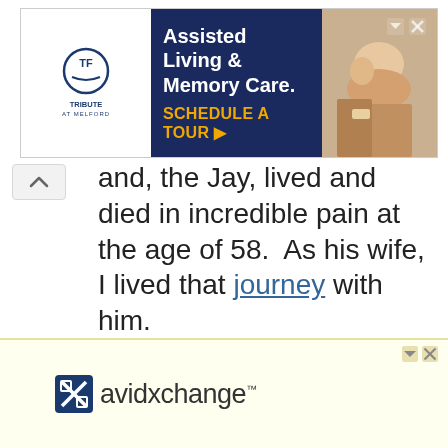[Figure (screenshot): Advertisement banner for Tribute at Melford Assisted Living & Memory Care with 'Schedule a Tour' call to action]
and, the Jay, lived and died in incredible pain at the age of 58.  As his wife, I lived that journey with him.
Jay is no longer here to tell his story, but I want the world to see what I saw.  I want you to know how he went from working 60 hours a week doing hard physical labor until his pain grew worse and he could not even get out of a chair on his own.
[Figure (screenshot): Advertisement banner for AvidXchange with logo on light yellow background]